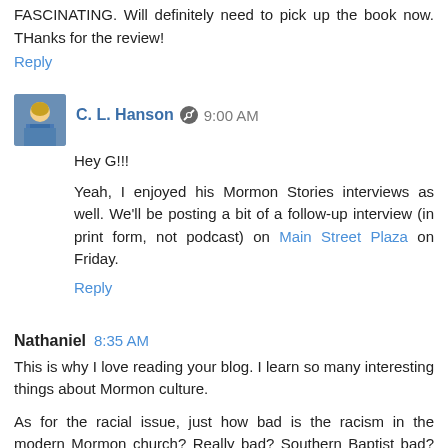FASCINATING. Will definitely need to pick up the book now. THanks for the review!
Reply
C. L. Hanson  9:00 AM
Hey G!!!
Yeah, I enjoyed his Mormon Stories interviews as well. We'll be posting a bit of a follow-up interview (in print form, not podcast) on Main Street Plaza on Friday.
Reply
Nathaniel  8:35 AM
This is why I love reading your blog. I learn so many interesting things about Mormon culture.
As for the racial issue, just how bad is the racism in the modern Mormon church? Really bad? Southern Baptist bad? No worse than any other predominantly white church?